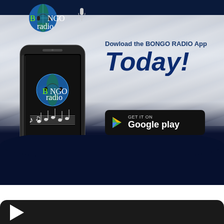[Figure (illustration): Bongo Radio advertisement banner. Dark navy top bar with Bongo Radio logo (green and white text with globe icon). Center shows a smartphone with the Bongo Radio app displayed on screen. White/silver silk fabric background. Text reads 'Dowload the BONGO RADIO App Today!' with Google Play and App Store download buttons. Dark navy bottom section.]
[Figure (illustration): Bottom black rounded rectangle with a white play button arrow, partially visible, suggesting a media player or second ad unit.]